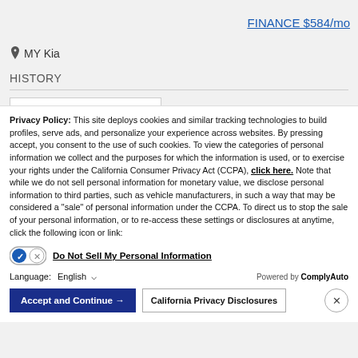FINANCE $584/mo
MY Kia
HISTORY
[Figure (screenshot): SHOW ME THE CARFAX banner with blue underline]
Privacy Policy: This site deploys cookies and similar tracking technologies to build profiles, serve ads, and personalize your experience across websites. By pressing accept, you consent to the use of such cookies. To view the categories of personal information we collect and the purposes for which the information is used, or to exercise your rights under the California Consumer Privacy Act (CCPA), click here. Note that while we do not sell personal information for monetary value, we disclose personal information to third parties, such as vehicle manufacturers, in such a way that may be considered a "sale" of personal information under the CCPA. To direct us to stop the sale of your personal information, or to re-access these settings or disclosures at anytime, click the following icon or link:
Do Not Sell My Personal Information
Language: English
Powered by ComplyAuto
Accept and Continue →
California Privacy Disclosures